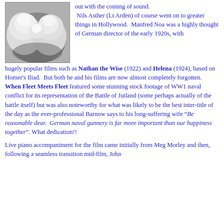[Figure (photo): Black and white photograph of two white animals (possibly dogs or doves) in close contact, appearing to nuzzle each other.]
out with the coming of sound. Nils Asther (Lt Arden) of course went on to greater things in Hollywood. Manfred Noa was a highly thought of German director of the early 1920s, with hugely popular films such as Nathan the Wise (1922) and Helena (1924), based on Homer's Iliad. But both he and his films are now almost completely forgotten. When Fleet Meets Fleet featured some stunning stock footage of WW1 naval conflict for its representation of the Battle of Jutland (some perhaps actually of the battle itself) but was also noteworthy for what was likely to be the best inter-title of the day as the ever-professional Barnow says to his long-suffering wife “Be reasonable dear. German naval gunnery is far more important than our happiness together”. What dedication!!
Live piano accompaniment for the film came initially from Meg Morley and then, following a seamless transition mid-film, John